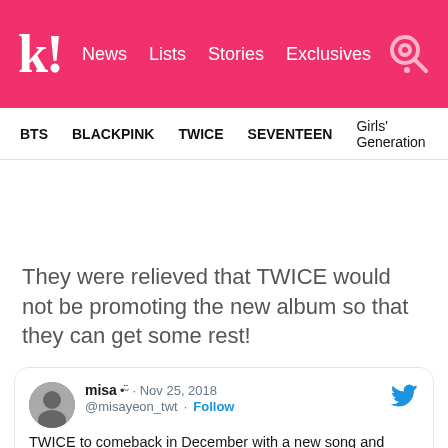K! News Lists Stories Exclusives
BTS  BLACKPINK  TWICE  SEVENTEEN  Girls' Generation
They were relieved that TWICE would not be promoting the new album so that they can get some rest!
[Figure (screenshot): Embedded tweet from @misayeon_twt dated Nov 25, 2018: 'TWICE to comeback in December with a new song and repackage album, MV already filmed in Mongolia']